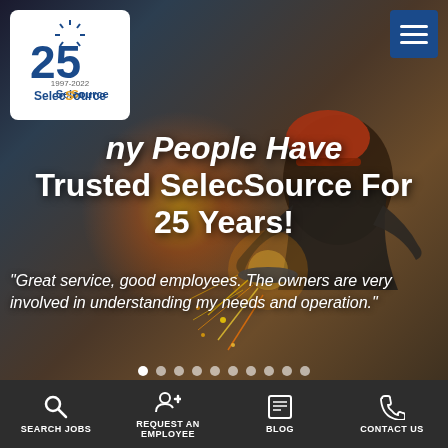[Figure (screenshot): SelecSource staffing agency website screenshot. Hero image shows an industrial worker in red hard hat grinding metal with sparks flying, overlaid with a 25th anniversary logo (1997-2022) in white box top-left, a hamburger menu button top-right, large white bold heading 'Why People Have Trusted SelecSource For 25 Years!', an italic quote 'Great service, good employees. The owners are very involved in understanding my needs and operation.', slider dots, and a dark bottom navigation bar with Search Jobs, Request an Employee, Blog, and Contact Us icons.]
Why People Have Trusted SelecSource For 25 Years!
“Great service, good employees. The owners are very involved in understanding my needs and operation.”
SEARCH JOBS | REQUEST AN EMPLOYEE | BLOG | CONTACT US